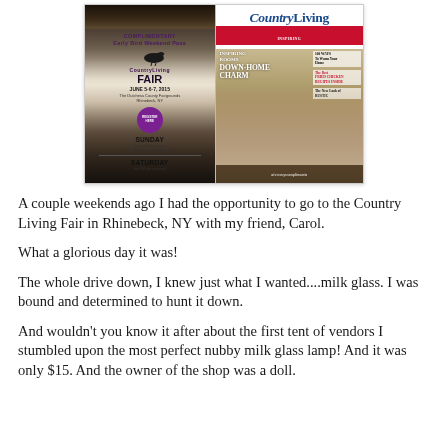[Figure (photo): Two-panel photo: left panel shows a hand holding a Country Living Fair flyer/pass for June 5-6-7, 2015 in Rhinebeck, NY with a complimentary early bird weekend pass, showing a bird logo, purple circle, SUNDAY and SATURDAY sections. Right panel shows the cover of Country Living magazine with the headline 'Inspiring Rooms Down-Home Charm' and a woman on the cover, with watermark 'afewofmycompliments' at the bottom.]
A couple weekends ago I had the opportunity to go to the Country Living Fair in Rhinebeck, NY with my friend, Carol.
What a glorious day it was!
The whole drive down, I knew just what I wanted....milk glass. I was bound and determined to hunt it down.
And wouldn't you know it after about the first tent of vendors I stumbled upon the most perfect nubby milk glass lamp! And it was only $15. And the owner of the shop was a doll.